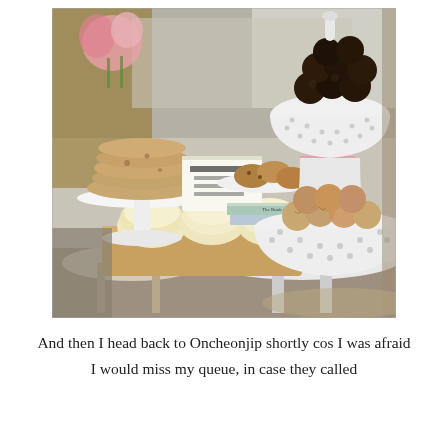[Figure (photo): A bakery display table outdoors with various baked goods: large fluffy scones on a wooden cutting board in the foreground, stacked cookies and pastries on a white pedestal stand on the left, a white colander-style tiered stand on the right holding dark chocolate balls on top and round cookies/buns below, more cookies on plates in the background, a Korean language sign, decorative books stacked as props, and pink flowers in the background.]
And then I head back to Oncheonjip shortly cos I was afraid I would miss my queue, in case they called